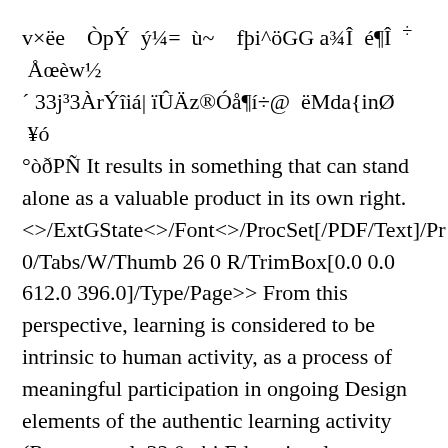v×ëe   ÒpÝ  ý¼=  ù~   fþi^öGG a¾Î  é¶Î  ÷  Åœèw½ ´ 33j³3ÀrÝîiá| ïÛÄz®Óå¶í÷@  ëMda{inØ  ¥ó °òðPÑ It results in something that can stand alone as a valuable product in its own right. <>/ExtGState<>/Font<>/ProcSet[/PDF/Text]/Pr 0/Tabs/W/Thumb 26 0 R/TrimBox[0.0 0.0 612.0 396.0]/Type/Page>> From this perspective, learning is considered to be intrinsic to human activity, as a process of meaningful participation in ongoing Design elements of the authentic learning activity (Reeves et al. 32 0 obj Educational Technology Research & Development, 48(3), pp. <> An Authentic Context Authentic Learning A context that reflects the way knowledge, skills and attitudes are used in real life. Based upon